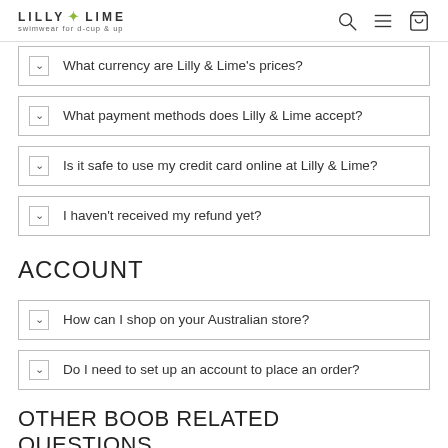LILLY & LIME swimwear for d-cup & up
What currency are Lilly & Lime's prices?
What payment methods does Lilly & Lime accept?
Is it safe to use my credit card online at Lilly & Lime?
I haven't received my refund yet?
ACCOUNT
How can I shop on your Australian store?
Do I need to set up an account to place an order?
OTHER BOOB RELATED QUESTIONS..